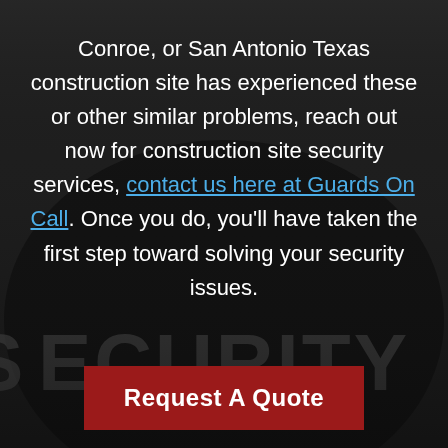[Figure (photo): Dark background showing a person wearing a black jacket with 'SECURITY' printed in large letters, grayscale/dark tones]
Conroe, or San Antonio Texas construction site has experienced these or other similar problems, reach out now for construction site security services, contact us here at Guards On Call. Once you do, you'll have taken the first step toward solving your security issues.
Request A Quote